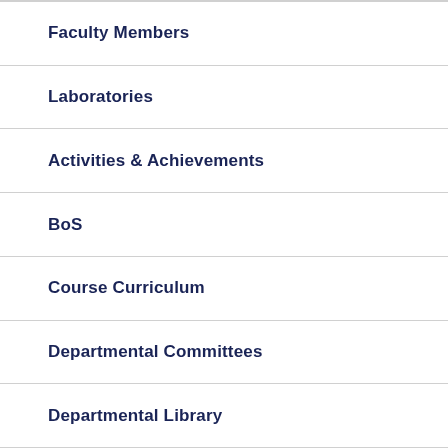Faculty Members
Laboratories
Activities & Achievements
BoS
Course Curriculum
Departmental Committees
Departmental Library